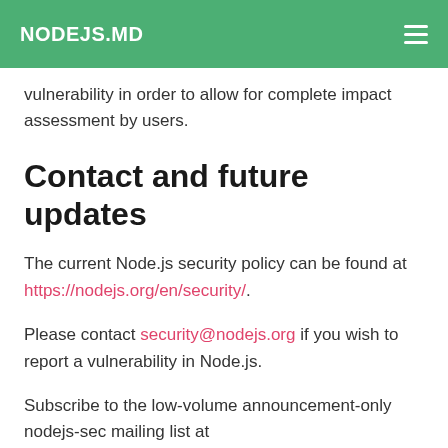NODEJS.MD
vulnerability in order to allow for complete impact assessment by users.
Contact and future updates
The current Node.js security policy can be found at https://nodejs.org/en/security/.
Please contact security@nodejs.org if you wish to report a vulnerability in Node.js.
Subscribe to the low-volume announcement-only nodejs-sec mailing list at https://groups.google.com/forum/#!forum/nodejs-sec to stay up to date on security vulnerabilities and security-